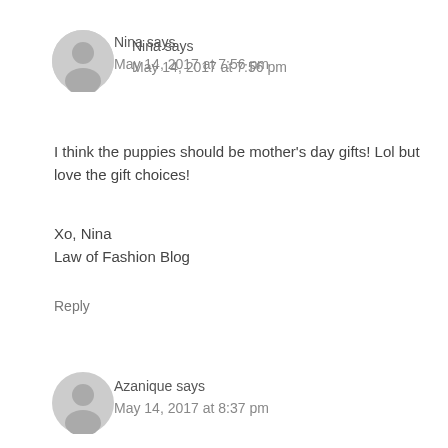Nina says
May 14, 2017 at 7:56 pm
I think the puppies should be mother's day gifts! Lol but love the gift choices!
Xo, Nina
Law of Fashion Blog
Reply
Azanique says
May 14, 2017 at 8:37 pm